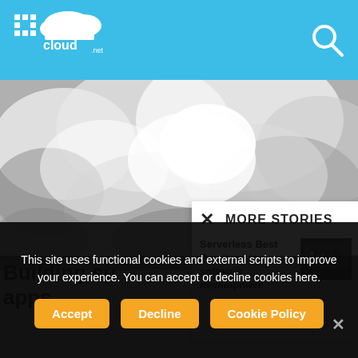comparecloud.net header with logo and search icon
[Figure (photo): Black and white dramatic cloudscape photo filling the main content area]
Building su... apps
MORE STORIES
Serverless Best Practices in software development
[Figure (photo): Small thumbnail image of a dark building/library interior]
This site uses functional cookies and external scripts to improve your experience. You can accept or decline cookies here.
Accept | Decline | Cookie Policy